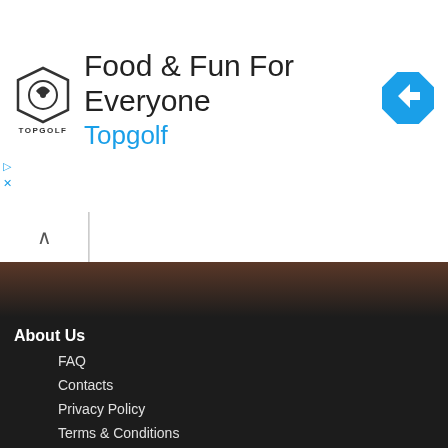[Figure (screenshot): Topgolf advertisement banner with logo, headline 'Food & Fun For Everyone', subtext 'Topgolf', and blue navigation arrow icon]
About Us
FAQ
Contacts
Privacy Policy
Terms & Conditions
Our World
Russia
Belarus
Ukraine